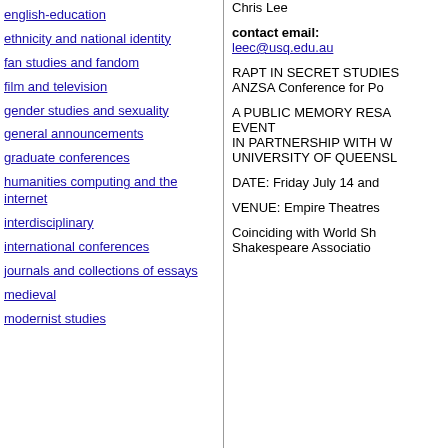english-education
ethnicity and national identity
fan studies and fandom
film and television
gender studies and sexuality
general announcements
graduate conferences
humanities computing and the internet
interdisciplinary
international conferences
journals and collections of essays
medieval
modernist studies
Chris Lee
contact email:
leec@usq.edu.au
RAPT IN SECRET STUDIES ANZSA Conference for Po
A PUBLIC MEMORY RESA EVENT IN PARTNERSHIP WITH W UNIVERSITY OF QUEENSL
DATE: Friday July 14 and
VENUE: Empire Theatres
Coinciding with World Sh Shakespeare Associatio